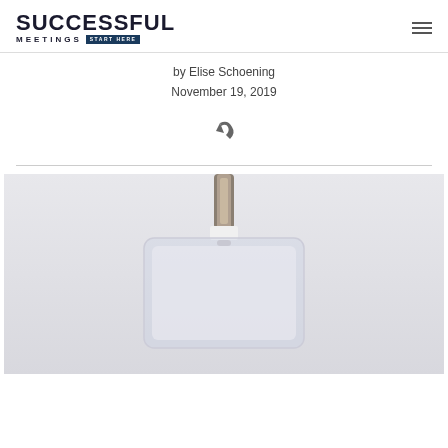SUCCESSFUL MEETINGS START HERE
by Elise Schoening
November 19, 2019
[Figure (illustration): Share/forward arrow icon]
[Figure (photo): Close-up photo of a clear plastic name badge holder with a metal clip at the top, on a white/light grey background]